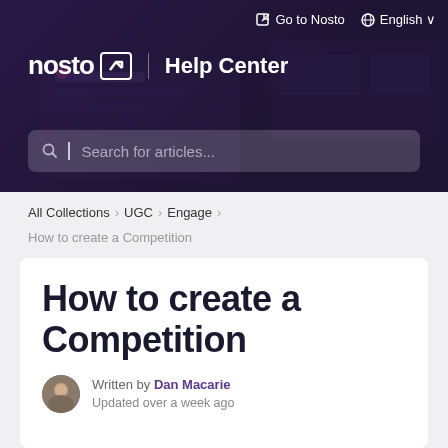[Figure (screenshot): Nosto Help Center website header banner with dark purple background, Nosto logo, Help Center text, search bar, and navigation links 'Go to Nosto' and 'English']
All Collections > UGC > Engage >
How to create a Competition
How to create a Competition
Written by Dan Macarie
Updated over a week ago